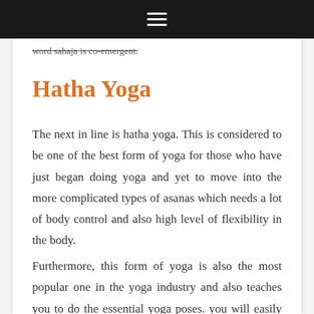word sahaja is co-emergent.
Hatha Yoga
The next in line is hatha yoga. This is considered to be one of the best form of yoga for those who have just began doing yoga and yet to move into the more complicated types of asanas which needs a lot of body control and also high level of flexibility in the body.
Furthermore, this form of yoga is also the most popular one in the yoga industry and also teaches you to do the essential yoga poses. you will easily find hatha yoga classes nearby your